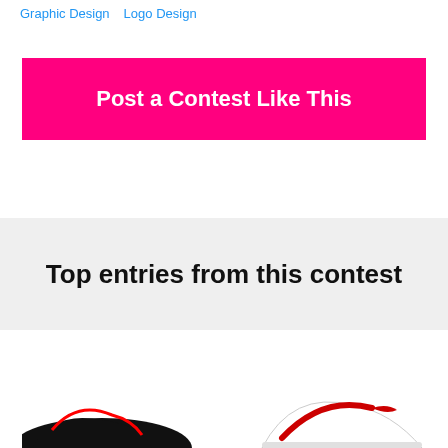Graphic Design  Logo Design
Post a Contest Like This
Top entries from this contest
[Figure (photo): Partial view of two logo/shoe design entries on white background, cropped at bottom of page]